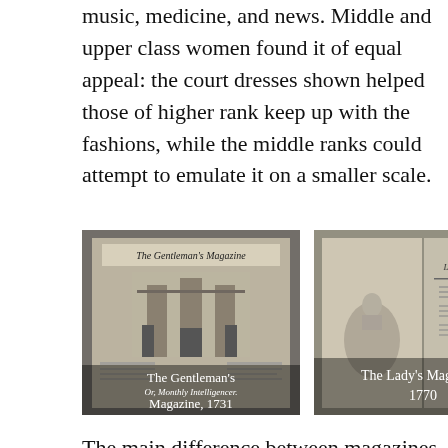music, medicine, and news. Middle and upper class women found it of equal appeal: the court dresses shown helped those of higher rank keep up with the fashions, while the middle ranks could attempt to emulate it on a smaller scale.
[Figure (photo): Photo of The Gentleman's Magazine, 1731, showing the magazine cover with a building engraving]
The Gentleman's Magazine, 1731
[Figure (photo): Photo of The Lady's Magazine, 1770, showing the magazine cover with a figure in a wide dress]
The Lady's Magazine, 1770
The main difference between magazines aimed at women and men in this period was the manner in which politics was treated. While